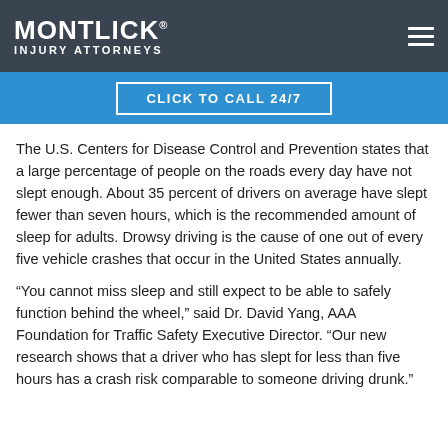MONTLICK INJURY ATTORNEYS
CLICK TO CALL 24/7
The U.S. Centers for Disease Control and Prevention states that a large percentage of people on the roads every day have not slept enough. About 35 percent of drivers on average have slept fewer than seven hours, which is the recommended amount of sleep for adults. Drowsy driving is the cause of one out of every five vehicle crashes that occur in the United States annually.
“You cannot miss sleep and still expect to be able to safely function behind the wheel,” said Dr. David Yang, AAA Foundation for Traffic Safety Executive Director. “Our new research shows that a driver who has slept for less than five hours has a crash risk comparable to someone driving drunk.”